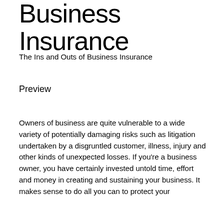Business Insurance
The Ins and Outs of Business Insurance
Preview
Owners of business are quite vulnerable to a wide variety of potentially damaging risks such as litigation undertaken by a disgruntled customer, illness, injury and other kinds of unexpected losses. If you're a business owner, you have certainly invested untold time, effort and money in creating and sustaining your business. It makes sense to do all you can to protect your